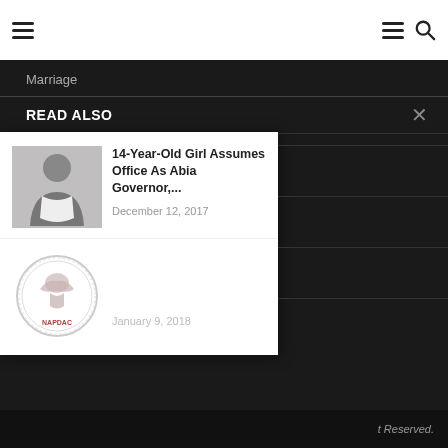Navigation bar with hamburger menu and search icon
Marriage
READ ALSO
14-Year-Old Girl Assumes Office As Abia Governor,...
December 12, 2017
[Figure (photo): NAPDAC circular emblem/logo]
January 9, 2018
t Reserved.